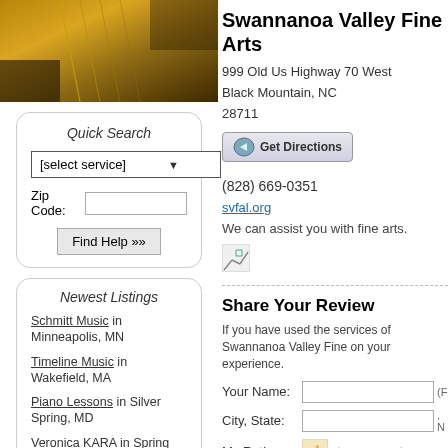[Figure (photo): Close-up photo of violin or string instrument strings and body in warm brown/gold tones]
Quick Search
[select service] dropdown, Zip Code input, Find Help button
Newest Listings
Schmitt Music in Minneapolis, MN
Timeline Music in Wakefield, MA
Piano Lessons in Silver Spring, MD
Veronica KARA in Spring Valley, CA
Allegro Music & Dance in Austin, TX
Rosita Lee Music Center in Hudson, NH
Bucks County Piano in Levittown, PA
Wisconsin Children's Choir in Madison, WI
Swannanoa Valley Fine Arts
999 Old Us Highway 70 West
Black Mountain, NC
28711
Get Directions
(828) 669-0351
svfal.org
We can assist you with fine arts.
Share Your Review
If you have used the services of Swannanoa Valley Fine on your experience.
Your Name: (Fi
City, State: N
My Rating: